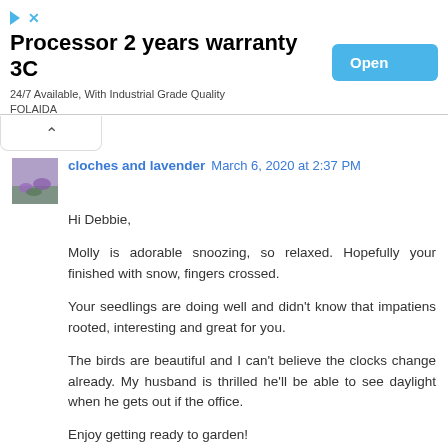[Figure (screenshot): Advertisement banner: 'Processor 2 years warranty 3C', '24/7 Available, With Industrial Grade Quality FOLAIDA', with an 'Open' button in blue]
cloches and lavender  March 6, 2020 at 2:37 PM
Hi Debbie,

Molly is adorable snoozing, so relaxed. Hopefully your finished with snow, fingers crossed.

Your seedlings are doing well and didn't know that impatiens rooted, interesting and great for you.

The birds are beautiful and I can't believe the clocks change already. My husband is thrilled he'll be able to see daylight when he gets out if the office.

Enjoy getting ready to garden!

Cin...